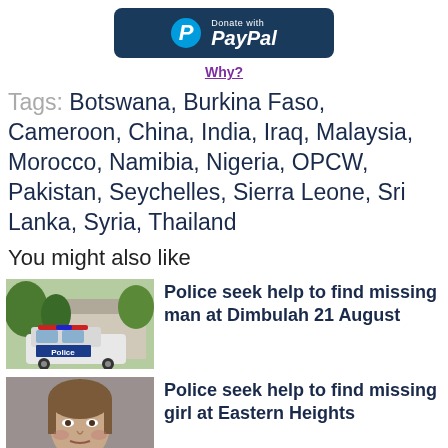[Figure (logo): Donate with PayPal button — dark navy rounded rectangle with PayPal logo (blue circle with white P) and white text 'Donate with PayPal']
Why?
Tags: Botswana, Burkina Faso, Cameroon, China, India, Iraq, Malaysia, Morocco, Namibia, Nigeria, OPCW, Pakistan, Seychelles, Sierra Leone, Sri Lanka, Syria, Thailand
You might also like
[Figure (photo): Police car parked outside a house with trees and shrubs in background]
Police seek help to find missing man at Dimbulah 21 August
[Figure (photo): Mugshot-style photo of a young girl with light brown hair against a grey background]
Police seek help to find missing girl at Eastern Heights
[Figure (photo): Partial thumbnail image, appears to be a news photo]
New Data Reveals